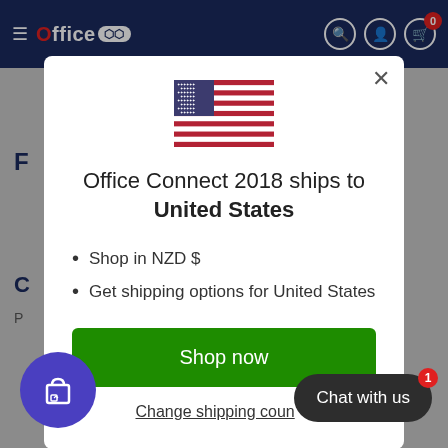[Figure (screenshot): Office Connect 2018 e-commerce website header navigation bar with logo, hamburger menu, search, account, and cart icons on dark navy background]
[Figure (screenshot): Modal popup dialog showing US flag, shipping information to United States, bullet points for NZD currency and shipping options, Shop now button, and Change shipping country link]
Office Connect 2018 ships to United States
Shop in NZD $
Get shipping options for United States
Shop now
Change shipping country
Chat with us